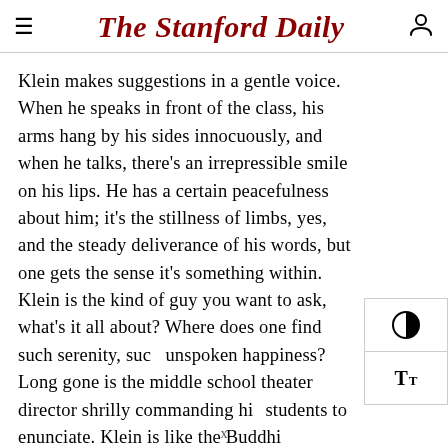The Stanford Daily
Klein makes suggestions in a gentle voice. When he speaks in front of the class, his arms hang by his sides innocuously, and when he talks, there’s an irrepressible smile on his lips. He has a certain peacefulness about him; it’s the stillness of limbs, yes, and the steady deliverance of his words, but one gets the sense it’s something within. Klein is the kind of guy you want to ask, what’s it all about? Where does one find such serenity, such unspoken happiness? Long gone is the middle school theater director shrilly commanding his students to enunciate. Klein is like the Buddhi